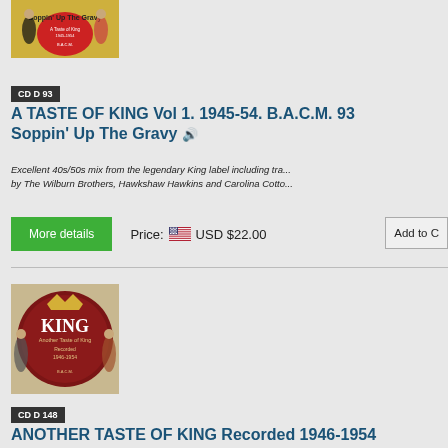[Figure (photo): Album cover for A Taste of King Vol 1, showing stylized dancers on yellow/red background with text 'Soppin Up The Gravy']
CD D 93
A TASTE OF KING Vol 1. 1945-54. B.A.C.M. 93 Soppin' Up The Gravy
Excellent 40s/50s mix from the legendary King label including tracks by The Wilburn Brothers, Hawkshaw Hawkins and Carolina Cotto...
More details   Price: USD $22.00   Add to Cart
[Figure (photo): Album cover for Another Taste of King Recorded 1946-1954, dark red circular KING Records logo with dancing figures]
CD D 148
ANOTHER TASTE OF KING Recorded 1946-1954